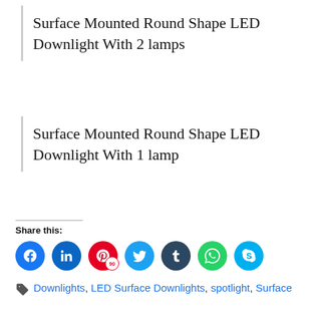Surface Mounted Round Shape LED Downlight With 2 lamps
Surface Mounted Round Shape LED Downlight With 1 lamp
Share this:
[Figure (infographic): Social share icons: Facebook, LinkedIn, Pinterest (90), Twitter, Tumblr, WhatsApp, Skype]
Downlights, LED Surface Downlights, spotlight, Surface